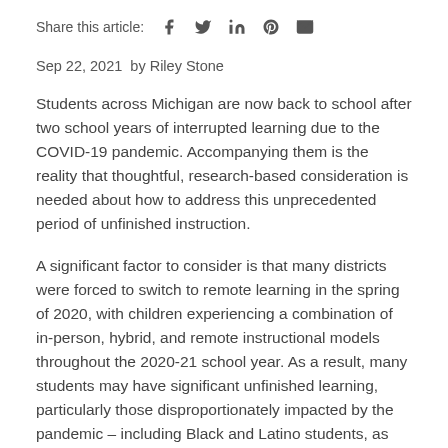Share this article:
Sep 22, 2021  by Riley Stone
Students across Michigan are now back to school after two school years of interrupted learning due to the COVID-19 pandemic. Accompanying them is the reality that thoughtful, research-based consideration is needed about how to address this unprecedented period of unfinished instruction.
A significant factor to consider is that many districts were forced to switch to remote learning in the spring of 2020, with children experiencing a combination of in-person, hybrid, and remote instructional models throughout the 2020-21 school year. As a result, many students may have significant unfinished learning, particularly those disproportionately impacted by the pandemic – including Black and Latino students, as well those from low-income backgrounds.